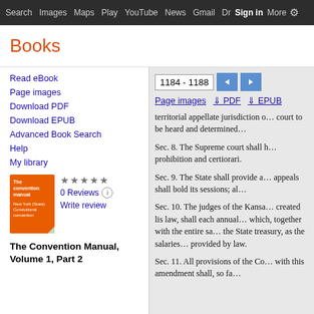Search  Images  Maps  Play  YouTube  News  Gmail  Dr  Sign in  More  ⚙
Books
Read eBook
Page images
Download PDF
Download EPUB
Advanced Book Search
Help
My library
[Figure (illustration): Book cover for The Convention Manual, orange cover with white text]
0 Reviews
Write review
The Convention Manual, Volume 1, Part 2
1184 - 1188
Page images  PDF  EPUB
territorial appellate jurisdiction o... court to be heard and determined...
Sec. 8. The Supreme court shall h... prohibition and certiorari.
Sec. 9. The State shall provide a... appeals shall bold its sessions; al...
Sec. 10. The judges of the Kansa... created lis law, shall each annual... which, together with the entire sa... the State treasury, as the salaries... provided by law.
Sec. 11. All provisions of the Co... with this amendment shall, so fa...